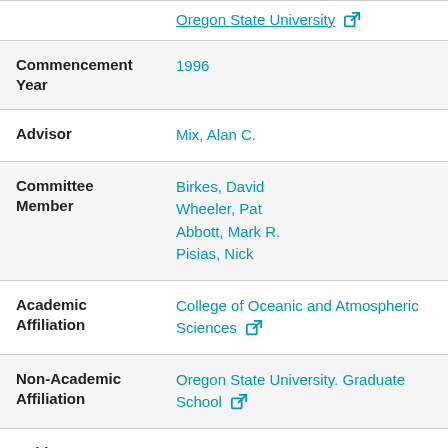| Field | Value |
| --- | --- |
|  | Oregon State University [ext link] |
| Commencement Year | 1996 |
| Advisor | Mix, Alan C. |
| Committee Member | Birkes, David
Wheeler, Pat
Abbott, Mark R.
Pisias, Nick |
| Academic Affiliation | College of Oceanic and Atmospheric Sciences [ext link] |
| Non-Academic Affiliation | Oregon State University. Graduate School [ext link] |
| Subject | Foraminifera, Fossil -- California Current |